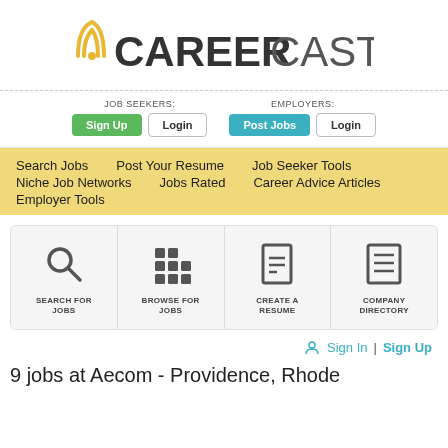[Figure (logo): CareerCast logo with signal wave icon in gold and bold dark text]
JOB SEEKERS: Sign Up Login | EMPLOYERS: Post Jobs Login
Search Jobs  Post Your Resume  Job Seeker Tools  Niche Job Networks  Jobs Rated  Career Advice Articles  Employer Tools
[Figure (infographic): Four icon boxes: Search For Jobs (magnifying glass), Browse For Jobs (grid), Create A Resume (document), Company Directory (list document)]
Sign In | Sign Up
9 jobs at Aecom - Providence, Rhode